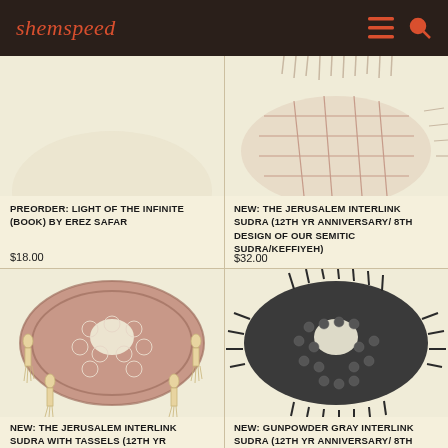shemspeed
[Figure (photo): Partial view of a patterned scarf/keffiyeh with fringe, top portion cropped]
PREORDER: LIGHT OF THE INFINITE (BOOK) BY EREZ SAFAR
$18.00
[Figure (photo): Patterned scarf/keffiyeh with fringe in cream and terracotta/brown tones, folded and draped]
NEW: THE JERUSALEM INTERLINK SUDRA (12TH YR ANNIVERSARY/ 8TH DESIGN OF OUR SEMITIC SUDRA/KEFFIYEH)
$32.00
[Figure (photo): Jerusalem Interlink Sudra with tassels - pink/mauve patterned keffiyeh scarf with cream tassels, tied in a knot]
NEW: THE JERUSALEM INTERLINK SUDRA WITH TASSELS (12TH YR
[Figure (photo): Gunpowder Gray Interlink Sudra - dark charcoal/black patterned keffiyeh scarf with fringed edges, tied]
NEW: GUNPOWDER GRAY INTERLINK SUDRA (12TH YR ANNIVERSARY/ 8TH